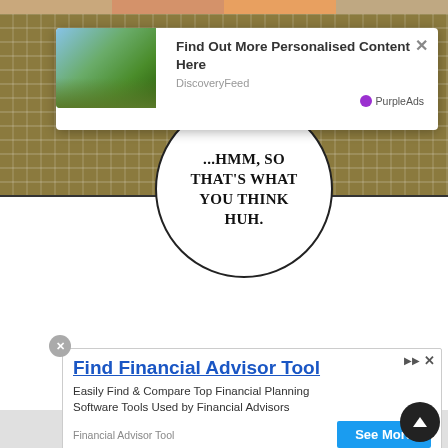[Figure (screenshot): Comic strip background with woven floor pattern and decorative ceiling strips]
[Figure (screenshot): DiscoveryFeed ad popup with mountain landscape thumbnail. Title: 'Find Out More Personalised Content Here'. Source: DiscoveryFeed. Powered by PurpleAds.]
[Figure (illustration): Comic speech bubble with text '...HMM, SO THAT'S WHAT YOU THINK HUH.']
[Figure (screenshot): Financial ad banner: 'Find Financial Advisor Tool'. Text: 'Easily Find & Compare Top Financial Planning Software Tools Used by Financial Advisors'. Source: Financial Advisor Tool. Button: 'See More'. Powered by PurpleAds.]